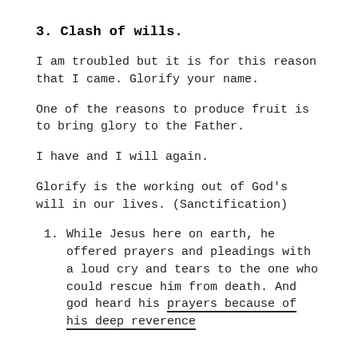3. Clash of wills.
I am troubled but it is for this reason that I came. Glorify your name.
One of the reasons to produce fruit is to bring glory to the Father.
I have and I will again.
Glorify is the working out of God's will in our lives. (Sanctification)
While Jesus here on earth, he offered prayers and pleadings with a loud cry and tears to the one who could rescue him from death. And god heard his prayers because of his deep reverence